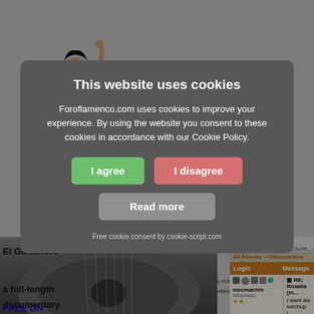[Figure (screenshot): Website background showing foro flamenco header with dancer illustration and 'foro flamenco' script title, plus forum content partially visible]
[Figure (other): Cookie consent modal dialog overlay on foroflamenco.com website. Contains title 'This website uses cookies', body text about cookies policy, three buttons: 'I agree' (green), 'I disagree' (red/pink), and 'Read more' (grey), plus 'Free cookie consent by cookie-script.com' credit text. Background also shows 'RE: Rosalia' forum text and forum table with user 'mecmachin', Aficionado.]